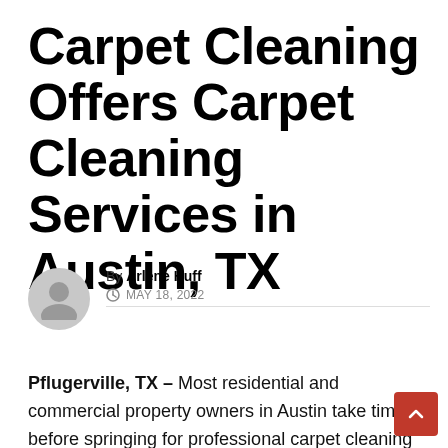Carpet Cleaning Offers Carpet Cleaning Services in Austin, TX
By Arlene Huff
MAY 18, 2022
Pflugerville, TX – Most residential and commercial property owners in Austin take time before springing for professional carpet cleaning because of their busy schedules or